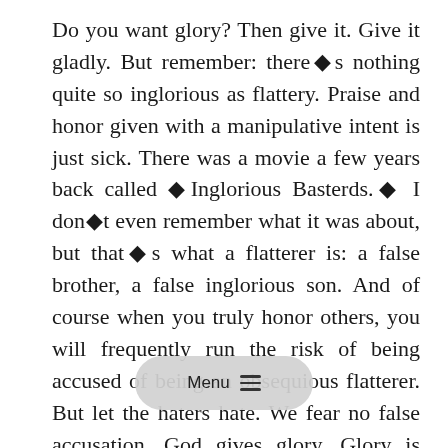Do you want glory? Then give it. Give it gladly. But remember: there◆s nothing quite so inglorious as flattery. Praise and honor given with a manipulative intent is just sick. There was a movie a few years back called ◆Inglorious Basterds.◆ I don◆t even remember what it was about, but that◆s what a flatterer is: a false brother, a false inglorious son. And of course when you truly honor others, you will frequently run the risk of being accused of being an obsequious flatterer. But let the haters hate. We fear no false accusation. God gives glory. Glory is always given.
Third and last, men are tempted to be fearful, insecure, and envi [Menu] e assume that glory is a finite commodity. We imagine that glory is